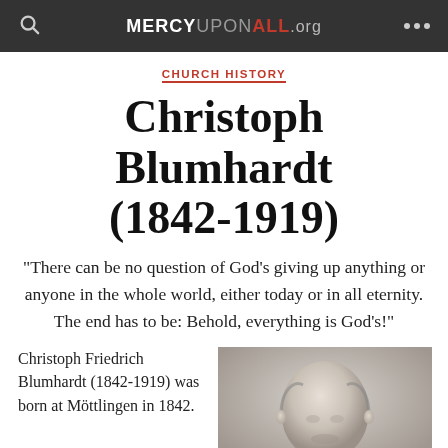MERCYUPONALL.org
CHURCH HISTORY
Christoph Blumhardt (1842-1919)
“There can be no question of God’s giving up anything or anyone in the whole world, either today or in all eternity. The end has to be: Behold, everything is God’s!”
Christoph Friedrich Blumhardt (1842-1919) was born at Möttlingen in 1842.
[Figure (photo): Black and white historical photograph of Christoph Blumhardt, showing his head and upper body, balding with a serious expression.]